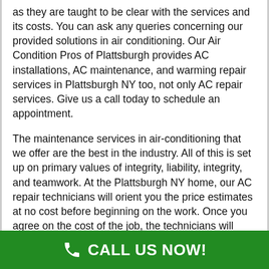as they are taught to be clear with the services and its costs. You can ask any queries concerning our provided solutions in air conditioning. Our Air Condition Pros of Plattsburgh provides AC installations, AC maintenance, and warming repair services in Plattsburgh NY too, not only AC repair services. Give us a call today to schedule an appointment.
The maintenance services in air-conditioning that we offer are the best in the industry. All of this is set up on primary values of integrity, liability, integrity, and teamwork. At the Plattsburgh NY home, our AC repair technicians will orient you the price estimates at no cost before beginning on the work. Once you agree on the cost of the job, the technicians will begin immediately. Don't be shy to ask our specialists because they are trained to be clear with the assistance and its prices. You can ask any queries concerning our presented providers in air conditioning. In Plattsburgh NY, our Air Condition
CALL US NOW!